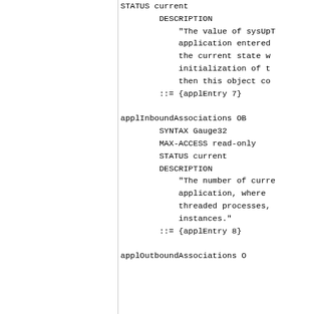STATUS current
        DESCRIPTION
            "The value of sysUpT
            application entered
            the current state w
            initialization of t
            then this object co
        ::= {applEntry 7}

applInboundAssociations OB
        SYNTAX Gauge32
        MAX-ACCESS read-only
        STATUS current
        DESCRIPTION
            "The number of curre
            application, where
            threaded processes,
            instances."
        ::= {applEntry 8}

applOutboundAssociations O